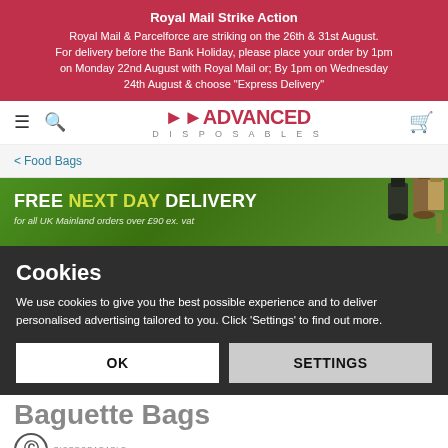Royal Mail Strike Action
Royal Mail & Parcelforce are striking on the 26th & 31st August. For delivery before the Bank Holiday, please place your order by 1pm on Monday 22nd August with Royal Mail or; By 1pm on Wednesday 24th August & choose "Express Delivery"
[Figure (logo): Advanced Disposables logo with red arrow and text]
< Food Bags
[Figure (infographic): FREE NEXT DAY DELIVERY banner - for all UK Mainland orders over £90 ex. vat]
Cookies
We use cookies to give you the best possible experience and to deliver personalised advertising tailored to you. Click 'Settings' to find out more.
OK
SETTINGS
Baguette Bags
BIODEGRADABLE